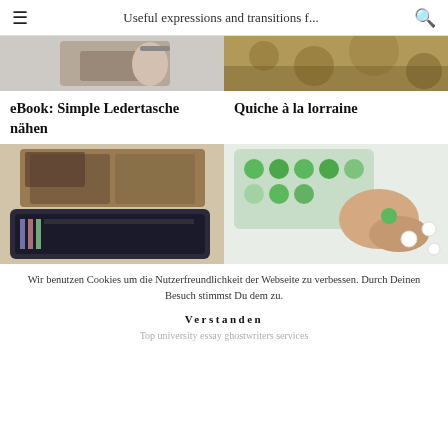Useful expressions and transitions f...
[Figure (photo): Top-left image: hand holding leather bag, partial view, light background]
[Figure (photo): Top-right image: food photo showing quiche or baked dish with green herbs]
eBook: Simple Ledertasche nähen
Quiche à la lorraine
[Figure (photo): Bottom-left image: handmade leather bag and wallet on wooden table]
[Figure (photo): Bottom-right image: hands crafting small green decorative items on white background]
Wir benutzen Cookies um die Nutzerfreundlichkeit der Webseite zu verbessen. Durch Deinen Besuch stimmst Du dem zu.
Verstanden
Top university essay ghostwriters services